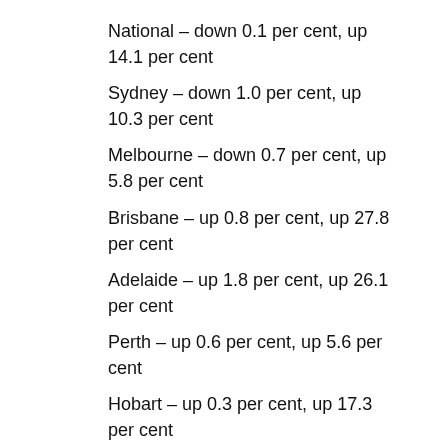National – down 0.1 per cent, up 14.1 per cent
Sydney – down 1.0 per cent, up 10.3 per cent
Melbourne – down 0.7 per cent, up 5.8 per cent
Brisbane – up 0.8 per cent, up 27.8 per cent
Adelaide – up 1.8 per cent, up 26.1 per cent
Perth – up 0.6 per cent, up 5.6 per cent
Hobart – up 0.3 per cent, up 17.3 per cent
Darwin – up 0.5 per cent, up 6.4 per cent
Canberra – down 0.1 per cent, up 18.7 per cent
Combined capitals – down 0.3 per cent, up 11.7 per cent
Combined regional – up 0.5 per cent, up 22.1 per cent.
Colin Brinsden, AAP Economics and Business Correspondent